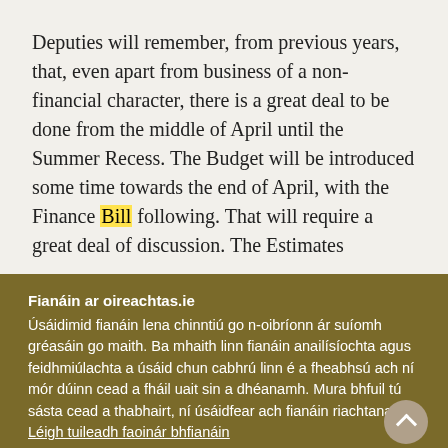Deputies will remember, from previous years, that, even apart from business of a non-financial character, there is a great deal to be done from the middle of April until the Summer Recess. The Budget will be introduced some time towards the end of April, with the Finance Bill following. That will require a great deal of discussion. The Estimates
Fianáin ar oireachtas.ie
Úsáidimid fianáin lena chinntiú go n-oibríonn ár suíomh gréasáin go maith. Ba mhaith linn fianáin anailísíochta agus feidhmiúlachta a úsáid chun cabhrú linn é a fheabhsú ach ní mór dúinn cead a fháil uait sin a dhéanamh. Mura bhfuil tú sásta cead a thabhairt, ní úsáidfear ach fianáin riachtanacha. Léigh tuileadh faoinár bhfianáin
Socraigh sainroghanna fianán
Glac leis na fianáin go léir